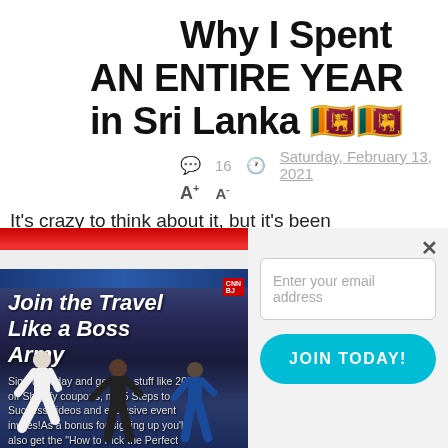Why I Spent AN ENTIRE YEAR in Sri Lanka 🇱🇰🇱🇰
💬 16   🕐 Saturday, February 13, 2021
A+ A-
It's crazy to think about it, but it's been
[Figure (photo): Promotional image for 'Join the Travel Like a Boss Army' with people jumping and martial arts, overlaid text inviting sign-up for free stuff including 20% off Shopify coupons and 5 Steps to Success videos]
Enter your email address
JOIN TODAY!